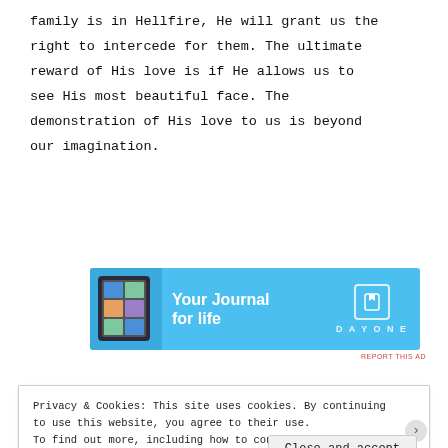family is in Hellfire, He will grant us the right to intercede for them. The ultimate reward of His love is if He allows us to see His most beautiful face. The demonstration of His love to us is beyond our imagination.
[Figure (other): Advertisement banner for DayOne journal app with blue background, phone mockup on left, text 'Your Journal for life' in center, and DayOne logo on right]
REPORT THIS AD
Privacy & Cookies: This site uses cookies. By continuing to use this website, you agree to their use. To find out more, including how to control cookies, see here: Cookie Policy
Close and accept